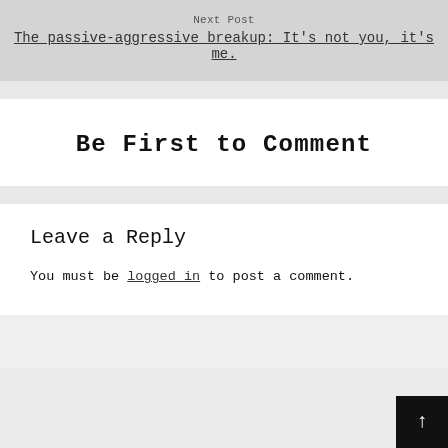Next Post
The passive-aggressive breakup: It’s not you, it’s me.
Be First to Comment
Leave a Reply
You must be logged in to post a comment.